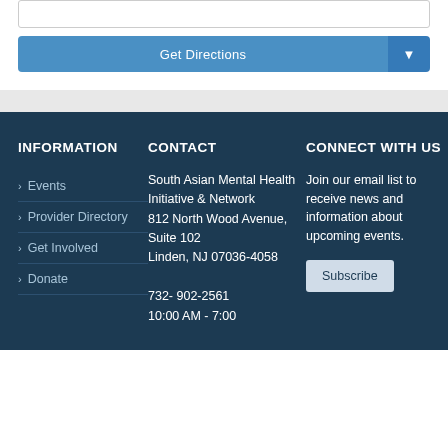[Figure (screenshot): Input field (email/address) and Get Directions button with dropdown arrow, blue button bar]
INFORMATION
> Events
> Provider Directory
> Get Involved
> Donate
CONTACT
South Asian Mental Health Initiative & Network
812 North Wood Avenue, Suite 102
Linden, NJ 07036-4058
732- 902-2561
10:00 AM - 7:00
CONNECT WITH US
Join our email list to receive news and information about upcoming events.
Subscribe